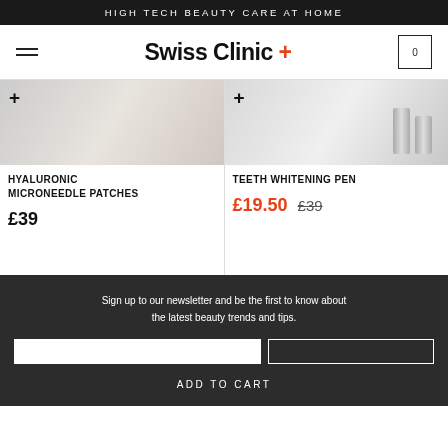HIGH TECH BEAUTY CARE AT HOME
Swiss Clinic +
[Figure (photo): Product image for Hyaluronic Microneedle Patches - light gray/white product photo with add button]
HYALURONIC MICRONEEDLE PATCHES
£39
[Figure (photo): Product image for Teeth Whitening Pen - two cylindrical pen-shaped products on gray background]
TEETH WHITENING PEN
£19.50  £39
Sign up to our newsletter and be the first to know about the latest beauty trends and tips.
ADD TO CART